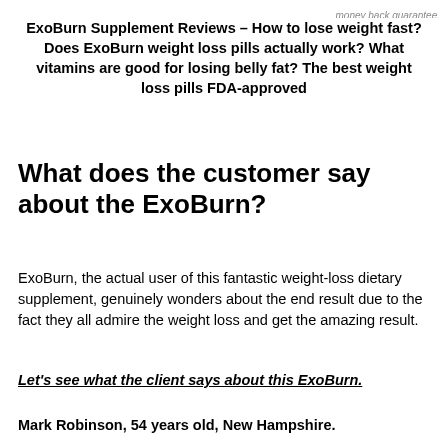money back guarantee.
ExoBurn Supplement Reviews – How to lose weight fast? Does ExoBurn weight loss pills actually work? What vitamins are good for losing belly fat? The best weight loss pills FDA-approved
What does the customer say about the ExoBurn?
ExoBurn, the actual user of this fantastic weight-loss dietary supplement, genuinely wonders about the end result due to the fact they all admire the weight loss and get the amazing result.
Let's see what the client says about this ExoBurn.
Mark Robinson, 54 years old, New Hampshire.